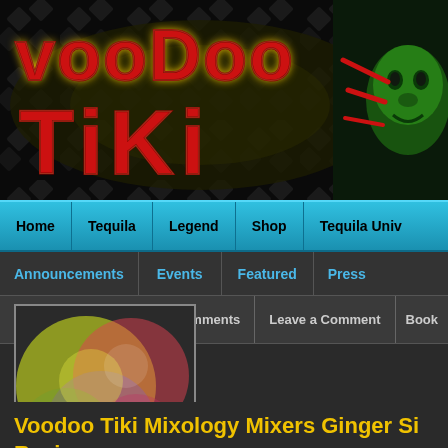[Figure (screenshot): Voodoo Tiki website banner with red gothic 'Voodoo Tiki' logo text on dark background with tribal pattern and green tiki face on right side with red slash marks]
Home | Tequila | Legend | Shop | Tequila Univ
Announcements | Events | Featured | Press
0 Comments | Leave a Comment | Book
[Figure (photo): Circular colorful abstract profile image thumbnail with yellow-green and pink-purple colors]
JohnnyTiki
Voodoo Tiki Mixology Mixers Ginger Si... Recipe